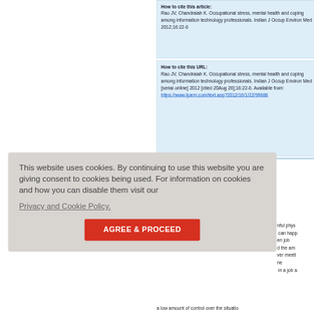How to cite this article: Rao JV, Chandraiah K. Occupational stress, mental health and coping among information technology professionals. Indian J Occup Environ Med 2012;16:22-6
How to cite this URL: Rao JV, Chandraiah K. Occupational stress, mental health and coping among information technology professionals. Indian J Occup Environ Med [serial online] 2012 [cited 20 Aug 26];16:22-6. Available from: https://www.ijoem.com/text.asp?2012/16/1/22/99686
This website uses cookies. By continuing to use this website you are giving consent to cookies being used. For information on cookies and how you can disable them visit our Privacy and Cookie Policy.
AGREE & PROCEED
a low amount of control over the situation